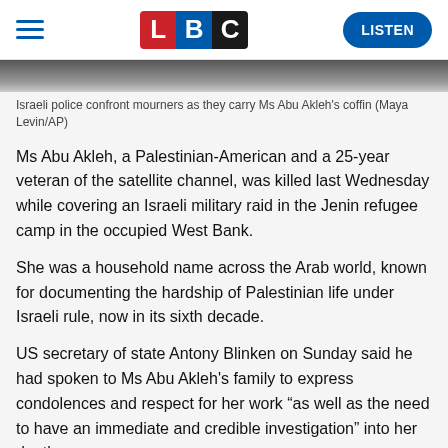LBC — LISTEN
[Figure (photo): Cropped photo showing Israeli police confronting mourners carrying Ms Abu Akleh's coffin]
Israeli police confront mourners as they carry Ms Abu Akleh's coffin (Maya Levin/AP)
Ms Abu Akleh, a Palestinian-American and a 25-year veteran of the satellite channel, was killed last Wednesday while covering an Israeli military raid in the Jenin refugee camp in the occupied West Bank.
She was a household name across the Arab world, known for documenting the hardship of Palestinian life under Israeli rule, now in its sixth decade.
US secretary of state Antony Blinken on Sunday said he had spoken to Ms Abu Akleh's family to express condolences and respect for her work “as well as the need to have an immediate and credible investigation” into her death.